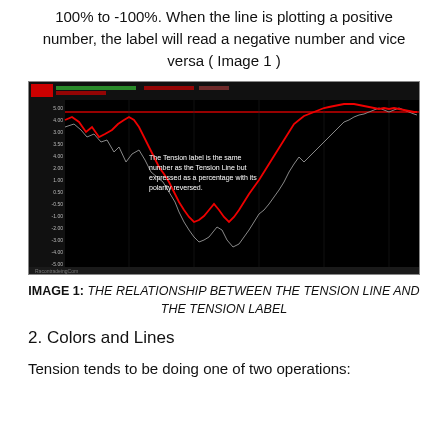100% to -100%. When the line is plotting a positive number, the label will read a negative number and vice versa ( Image 1 )
[Figure (screenshot): A financial chart on a black background showing the Tension Line (red) and a green/grey price line. The chart demonstrates the relationship between the Tension Line and the Tension Label, with an annotation reading: 'The Tension label is the same number as the Tension Line but expressed as a percentage with its polarity reversed.' Various y-axis labels and a horizontal red line near the top are visible. The watermark reads 'RacontradeingCom'.]
IMAGE 1: THE RELATIONSHIP BETWEEN THE TENSION LINE AND THE TENSION LABEL
2. Colors and Lines
Tension tends to be doing one of two operations: